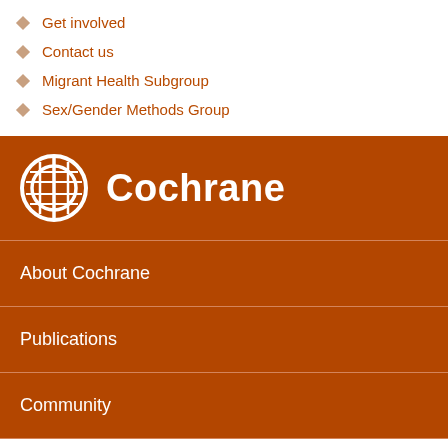Get involved
Contact us
Migrant Health Subgroup
Sex/Gender Methods Group
[Figure (logo): Cochrane logo with circular white icon and white bold text 'Cochrane' on brown/orange background]
About Cochrane
Publications
Community